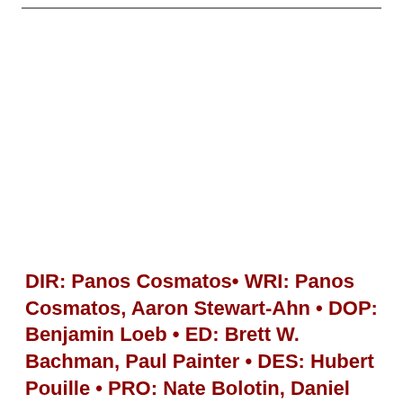DIR: Panos Cosmatos• WRI: Panos Cosmatos, Aaron Stewart-Ahn • DOP: Benjamin Loeb • ED: Brett W. Bachman, Paul Painter • DES: Hubert Pouille • PRO: Nate Bolotin, Daniel Noah, Josh C. Waller, Elijah Wood • MUS: Jóhann Jóhannsson • CAST: Nicolas